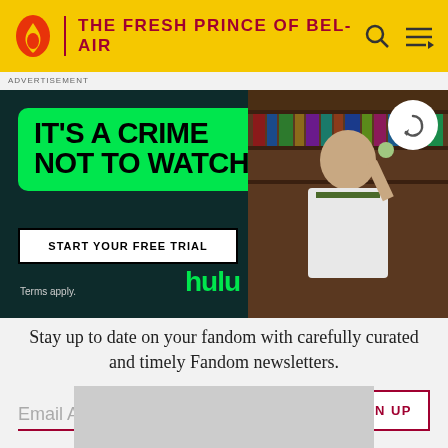THE FRESH PRINCE OF BEL-AIR
ADVERTISEMENT
[Figure (screenshot): Hulu advertisement banner: 'IT'S A CRIME NOT TO WATCH' on green background with 'START YOUR FREE TRIAL' button and Hulu logo, alongside a photo of a man in a library]
Stay up to date on your fandom with carefully curated and timely Fandom newsletters.
Email Address
SIGN UP
[Figure (other): Gray placeholder rectangle at bottom of page]